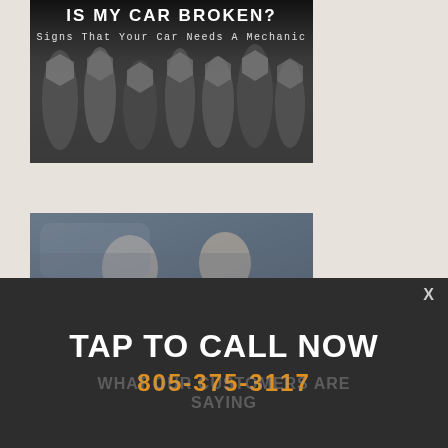[Figure (photo): Top banner image with dark overlay showing metal tools/sockets with title 'IS MY CAR BROKEN?' and subtitle 'Signs That Your Car Needs A Mechanic']
[Figure (photo): Lower large image showing a woman and a mechanic in an auto shop with a dark semi-transparent banner overlay reading 'PEACE OF MIND GUARANTEE' and 'Click Here To Learn More']
WHAT OUR CUSTOMERS ARE SAYING
TAP TO CALL NOW
805-375-3117